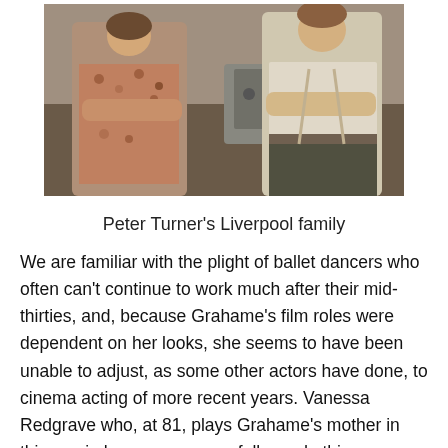[Figure (photo): Two people standing with arms crossed in a kitchen setting, posed for a scene.]
Peter Turner's Liverpool family
We are familiar with the plight of ballet dancers who often can't continue to work much after their mid-thirties, and, because Grahame's film roles were dependent on her looks, she seems to have been unable to adjust, as some other actors have done, to cinema acting of more recent years. Vanessa Redgrave who, at 81, plays Grahame's mother in this movie has very successfully made this adjustment.
Hollywood glamour doesn't often support substantial, long-